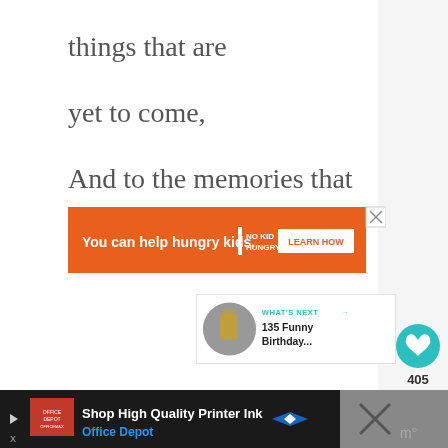things that are
yet to come,
And to the memories that
we hold.
[Figure (screenshot): Orange advertisement banner: 'You can help hungry kids.' with No Kid Hungry logo and 'LEARN HOW' button, with close X button]
[Figure (infographic): Teal circular heart/like button with count 405 below it, and a share button (circular with share icon)]
[Figure (screenshot): What's Next panel showing thumbnail and text '135 Funny Birthday...']
[Figure (screenshot): Bottom footer ad for Office Depot 'Shop High Quality Printer Ink' with red Office Depot logo and blue navigation icon, and dark right panel with X icon]